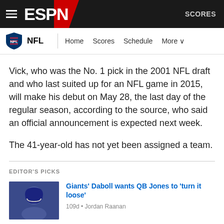ESPN — NFL | Home | Scores | Schedule | More | SCORES
Vick, who was the No. 1 pick in the 2001 NFL draft and who last suited up for an NFL game in 2015, will make his debut on May 28, the last day of the regular season, according to the source, who said an official announcement is expected next week.
The 41-year-old has not yet been assigned a team.
EDITOR'S PICKS
Giants' Daboll wants QB Jones to 'turn it loose'
109d • Jordan Raanan
P Koch, Ravens' longest-tenured player, retires